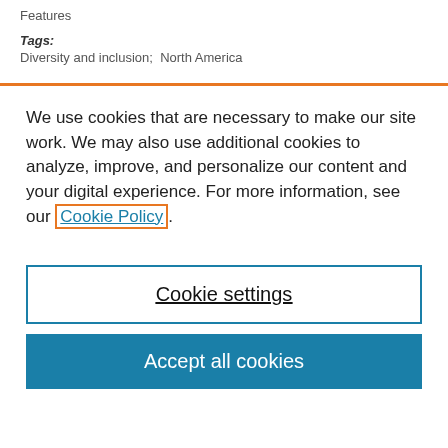Features
Tags: Diversity and inclusion;  North America
We use cookies that are necessary to make our site work. We may also use additional cookies to analyze, improve, and personalize our content and your digital experience. For more information, see our Cookie Policy.
Cookie settings
Accept all cookies